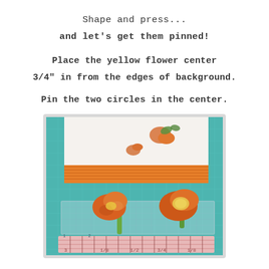Shape and press...
and let's get them pinned!
Place the yellow flower center
3/4" in from the edges of background.
Pin the two circles in the center.
[Figure (photo): Photo showing fabric flower pieces (orange/yellow cutouts of flower shapes with a green stem) on a quilting ruler/cutting mat with a teal background. A quilted fabric block with orange stripes and white fabric with pumpkin print is visible at the top of the image.]